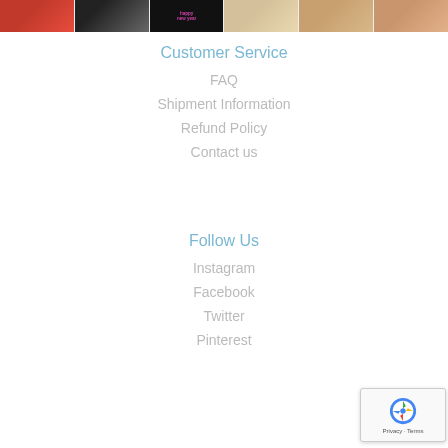[Figure (photo): Image strip at top showing product photos of lingerie/swimwear items and a Happy New Year promotional graphic]
Customer Service
FAQ
Shipment Information
Refund Policy
Contact us
Follow Us
Instagram
Facebook
Twitter
Pinterest
[Figure (other): reCAPTCHA privacy badge in bottom right corner showing recaptcha logo with Privacy - Terms text]